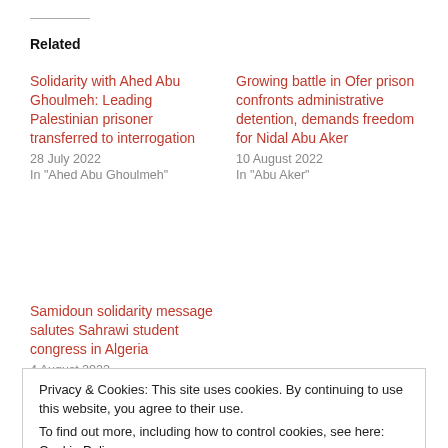Related
Solidarity with Ahed Abu Ghoulmeh: Leading Palestinian prisoner transferred to interrogation
28 July 2022
In "Ahed Abu Ghoulmeh"
Growing battle in Ofer prison confronts administrative detention, demands freedom for Nidal Abu Aker
10 August 2022
In "Abu Aker"
Samidoun solidarity message salutes Sahrawi student congress in Algeria
4 August 2022
Privacy & Cookies: This site uses cookies. By continuing to use this website, you agree to their use.
To find out more, including how to control cookies, see here: Cookie Policy